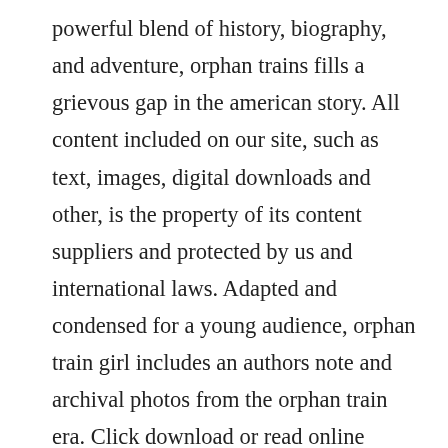powerful blend of history, biography, and adventure, orphan trains fills a grievous gap in the american story. All content included on our site, such as text, images, digital downloads and other, is the property of its content suppliers and protected by us and international laws. Adapted and condensed for a young audience, orphan train girl includes an authors note and archival photos from the orphan train era. Click download or read online button to get orphan train book now. Hurwitz orphan x download free download